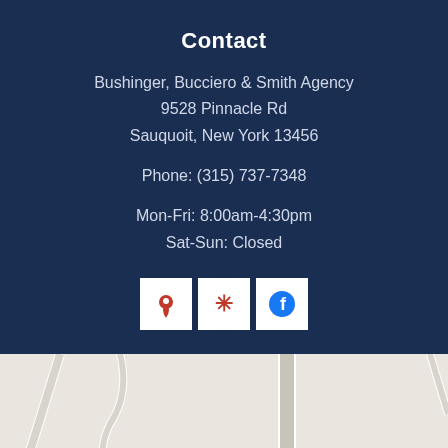Contact
Bushinger, Bucciero & Smith Agency
9528 Pinnacle Rd
Sauquoit, New York 13456
Phone: (315) 737-7348
Mon-Fri: 8:00am-4:30pm
Sat-Sun: Closed
[Figure (other): Three social media icon buttons: Google Maps pin icon, Yelp burst icon, Facebook 'f' icon — white square backgrounds with red icons]
[Figure (map): Google Maps screenshot showing local street map with road and Pine Cir label visible, and a map marker pin]